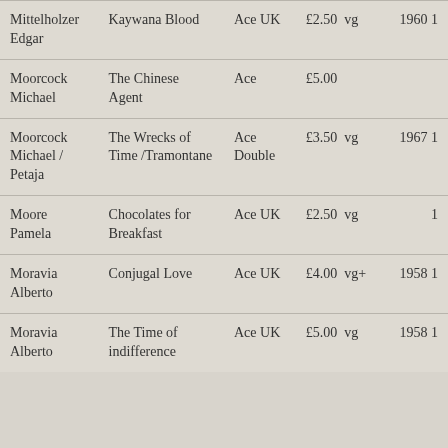| Mittelholzer Edgar | Kaywana Blood | Ace UK | £2.50  vg | 1960 1 |
| Moorcock Michael | The Chinese Agent | Ace | £5.00 |  |
| Moorcock Michael / Petaja | The Wrecks of Time /Tramontane | Ace Double | £3.50  vg | 1967 1 |
| Moore Pamela | Chocolates for Breakfast | Ace UK | £2.50  vg | 1 |
| Moravia Alberto | Conjugal Love | Ace UK | £4.00  vg+ | 1958 1 |
| Moravia Alberto | The Time of indifference | Ace UK | £5.00  vg | 1958 1 |